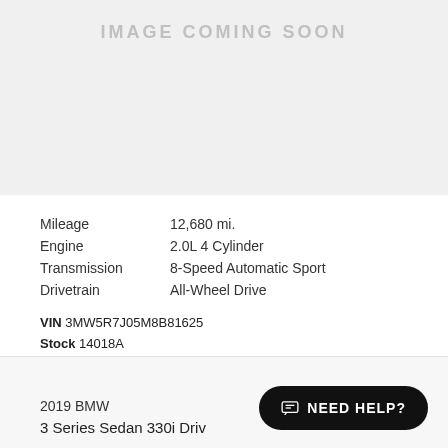[Figure (other): Image placeholder with text IMAGE COMING SOON on a light gray background]
Mileage	12,680 mi.
Engine	2.0L 4 Cylinder
Transmission	8-Speed Automatic Sport
Drivetrain	All-Wheel Drive
VIN 3MW5R7J05M8B81625
Stock 14018A
FINANCE PAYMENT
$787* /month
2019 BMW
3 Series Sedan 330i Driv…